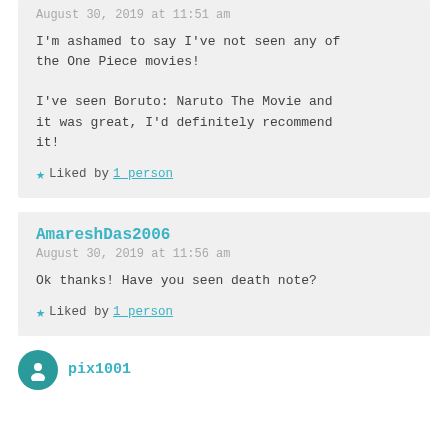August 30, 2019 at 11:51 am
I'm ashamed to say I've not seen any of the One Piece movies!
I've seen Boruto: Naruto The Movie and it was great, I'd definitely recommend it!
★ Liked by 1 person
AmareshDas2006
August 30, 2019 at 11:56 am
Ok thanks! Have you seen death note?
★ Liked by 1 person
pix1001